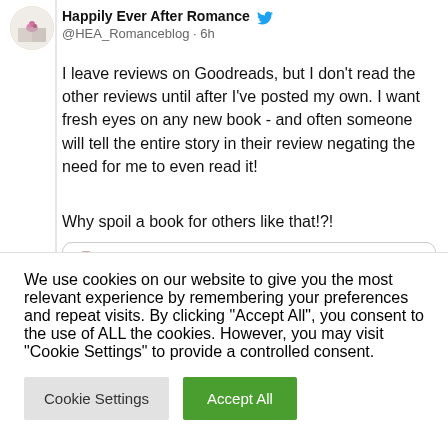[Figure (screenshot): A Twitter/X post by @HEA_Romanceblog (Happily Ever After Romance) from 6h ago. The tweet reads: 'I leave reviews on Goodreads, but I don't read the other reviews until after I've posted my own. I want fresh eyes on any new book - and often someone will tell the entire story in their review negating the need for me to even read it! Why spoil a book for others like that!?!' with a quoted tweet from Gretchen @aboutthatstory · 6h.]
We use cookies on our website to give you the most relevant experience by remembering your preferences and repeat visits. By clicking "Accept All", you consent to the use of ALL the cookies. However, you may visit "Cookie Settings" to provide a controlled consent.